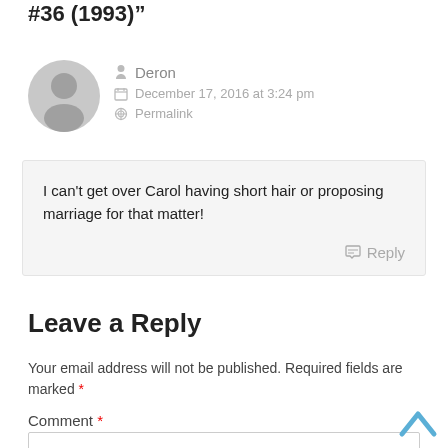#36 (1993)"
Deron
December 17, 2016 at 3:24 pm
Permalink
I can't get over Carol having short hair or proposing marriage for that matter!
Reply
Leave a Reply
Your email address will not be published. Required fields are marked *
Comment *